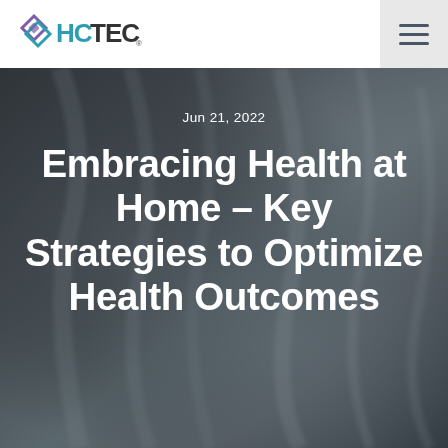HCTEC
[Figure (photo): Dark moody background photo of what appears to be medical/fabric material, used as hero image background]
Jun 21, 2022
Embracing Health at Home – Key Strategies to Optimize Health Outcomes